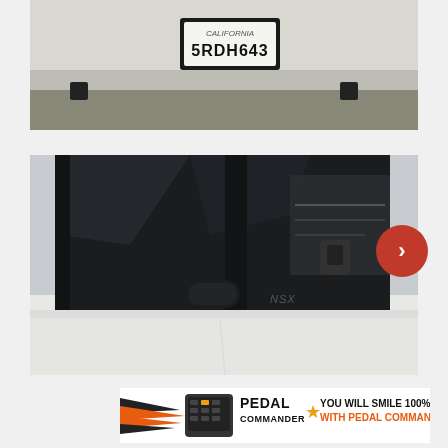[Figure (photo): Close-up photo of the rear of a white car showing California license plate 5RDH643]
[Figure (photo): Photo of a white Honda NSX sports car showing the side window area with dark tinted glass, door handle, and NSX badge visible. Interior with dashboard and center console visible through glass.]
[Figure (photo): Advertisement banner for Pedal Commander product with orange/black speed lines graphic, product device image, star logo, and text: PEDAL COMMANDER YOU WILL SMILE 100% WITH PEDAL COMMANDER]